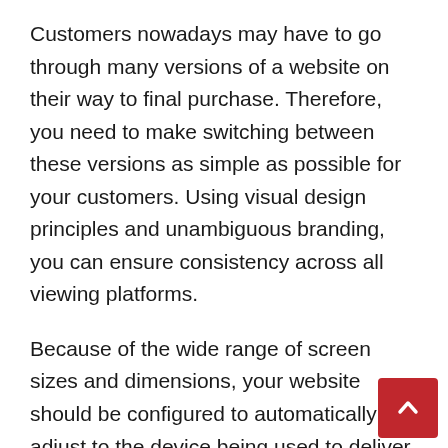Customers nowadays may have to go through many versions of a website on their way to final purchase. Therefore, you need to make switching between these versions as simple as possible for your customers. Using visual design principles and unambiguous branding, you can ensure consistency across all viewing platforms.
Because of the wide range of screen sizes and dimensions, your website should be configured to automatically adjust to the device being used to deliver the best possible user experience. The responsiveness of the website and its features gives rise to the term “responsive design.”